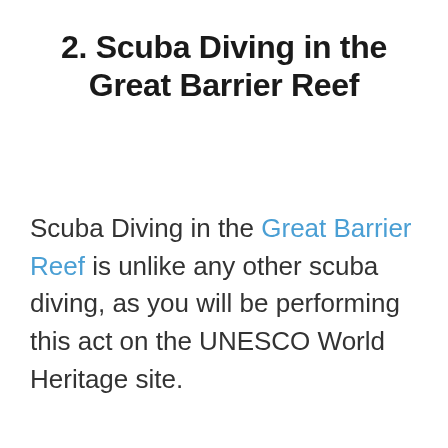2. Scuba Diving in the Great Barrier Reef
Scuba Diving in the Great Barrier Reef is unlike any other scuba diving, as you will be performing this act on the UNESCO World Heritage site.